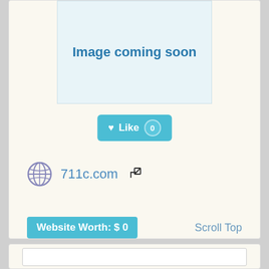[Figure (screenshot): Image placeholder box with text 'Image coming soon' in blue on light blue background]
♥ Like 0
711c.com ↗
Website Worth: $ 0
Scroll Top
Is it similar?
👍 Yes 0
👎 No 0